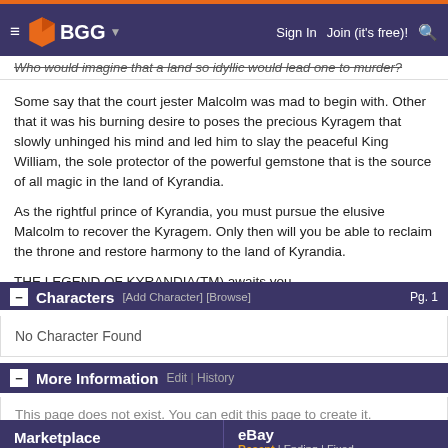BGG — Sign In | Join (it's free)! [search]
Who would imagine that a land so idyllic would lead one to murder?
Some say that the court jester Malcolm was mad to begin with. Other that it was his burning desire to poses the precious Kyragem that slowly unhinged his mind and led him to slay the peaceful King William, the sole protector of the powerful gemstone that is the source of all magic in the land of Kyrandia.
As the rightful prince of Kyrandia, you must pursue the elusive Malcolm to recover the Kyragem. Only then will you be able to reclaim the throne and restore harmony to the land of Kyrandia.
THE LEGEND OF KYRANDIA(TM) awaits you.
Characters [Add Character] [Browse] Pg. 1
No Character Found
More Information Edit | History
This page does not exist. You can edit this page to create it.
Marketplace | eBay Recent | Ending | Fixed Price | Complete